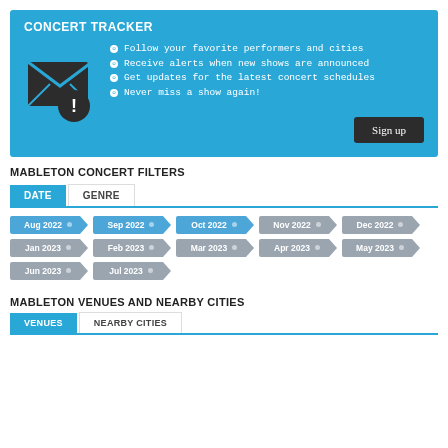[Figure (infographic): Concert Tracker banner with envelope/alert icon, bullet list of features, and Sign up button on blue background]
MABLETON CONCERT FILTERS
[Figure (infographic): Tab filter interface with DATE (active, blue) and GENRE tabs, followed by date filter pills: Aug 2022, Sep 2022, Oct 2022 (blue/active), Nov 2022, Dec 2022, Jan 2023, Feb 2023, Mar 2023, Apr 2023, May 2023, Jun 2023, Jul 2023 (gray/inactive)]
MABLETON VENUES AND NEARBY CITIES
[Figure (infographic): Tab interface with VENUES (active, blue) and NEARBY CITIES tabs]